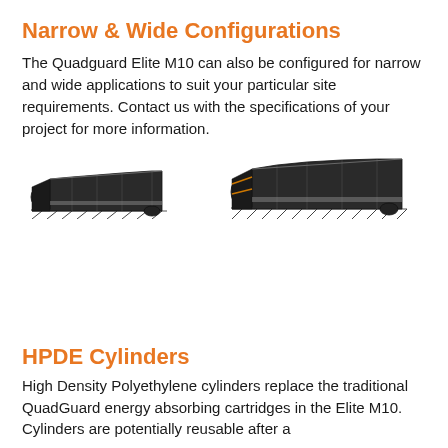Narrow & Wide Configurations
The Quadguard Elite M10 can also be configured for narrow and wide applications to suit your particular site requirements. Contact us with the specifications of your project for more information.
[Figure (photo): Two side-view photos of Quadguard Elite M10 crash attenuator in narrow configuration (left) and wide configuration (right)]
HPDE Cylinders
High Density Polyethylene cylinders replace the traditional QuadGuard energy absorbing cartridges in the Elite M10. Cylinders are potentially reusable after a